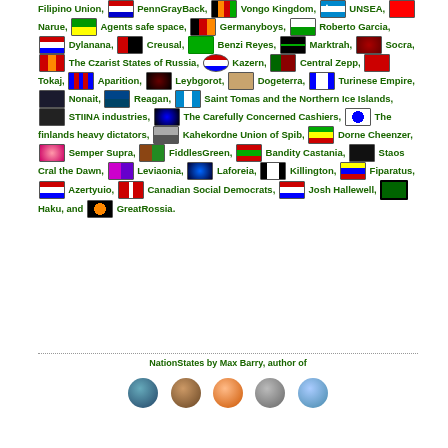Filipino Union, PennGrayBack, Vongo Kingdom, UNSEA, Narue, Agents safe space, Germanyboys, Roberto Garcia, Dylanana, Creusal, Benzi Reyes, Marktrah, Socra, The Czarist States of Russia, Kazern, Central Zepp, Tokaj, Aparition, Leybgorot, Dogeterra, Turinese Empire, Nonait, Reagan, Saint Tomas and the Northern Ice Islands, STIINA industries, The Carefully Concerned Cashiers, The finlands heavy dictators, Kahekordne Union of Spib, Dorne Cheenzer, Semper Supra, FiddlesGreen, Bandity Castania, Staos Cral the Dawn, Leviaonia, Laforeia, Killington, Fiparatus, Azertyuio, Canadian Social Democrats, Josh Hallewell, Haku, and GreatRossia.
NationStates by Max Barry, author of